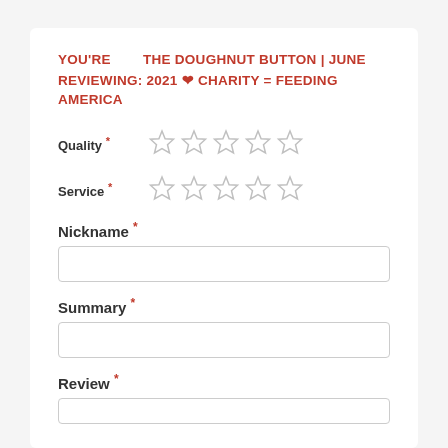YOU'RE REVIEWING: THE DOUGHNUT BUTTON | JUNE 2021 ❤ CHARITY = FEEDING AMERICA
Quality * (5 stars empty)
Service * (5 stars empty)
Nickname *
Summary *
Review *